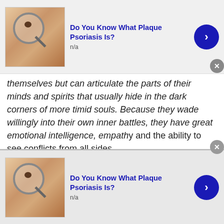[Figure (infographic): Advertisement banner: skin with mole under magnifying glass image, title 'Do You Know What Plaque Psoriasis Is?', subtitle 'n/a', blue arrow button]
themselves but can articulate the parts of their minds and spirits that usually hide in the dark corners of more timid souls. Because they wade willingly into their own inner battles, they have great emotional intelligence, empath[y and] the ability to see conflicts from all sides.

They also have a highly developed sense of right and w[rong]. They have the confidence to act, even when no one else [is] around them will. They have the resolve to stand firm on what is right even when others question it or try to back them down. The reason? They don't fear conflict.

What stops your average person from getting involved or
[Figure (infographic): Advertisement banner (bottom): skin with mole under magnifying glass image, title 'Do You Know What Plaque Psoriasis Is?', subtitle 'n/a', blue arrow button]